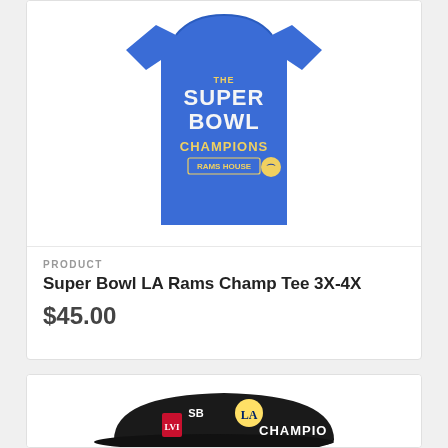[Figure (photo): Blue Super Bowl Champions LA Rams t-shirt with 'RAMS HOUSE' text and Rams logo]
PRODUCT
Super Bowl LA Rams Champ Tee 3X-4X
$45.00
[Figure (photo): Black LA Rams SB Champions cap with Rams logo and Super Bowl LVI logo]